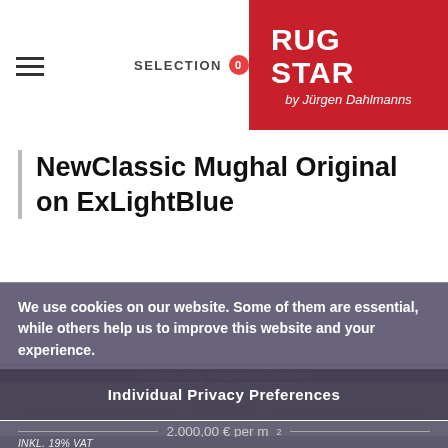RUG STAR by Jürgen Dahlmanns — SELECTION 0
NewClassic Mughal Original on ExLightBlue
Our contemporary modern rug art is produced in Rajasthan, India as a hand-knotted Persian weave in 11/11 knot quality in a nice blend of wool and silk. The surface comes in a high/low texture and creates a patina, where we oxidize particular wool fields to create a topography of material and texture.
We use cookies on our website. Some of them are essential, while others help us to improve this website and your experience.
Accept only essential cookies
I accept
2.000,00 € per m²
INKL. 19% VAT
Individual Privacy Preferences
[Figure (photo): Close-up strip of a dark patterned rug texture at the bottom of the page]